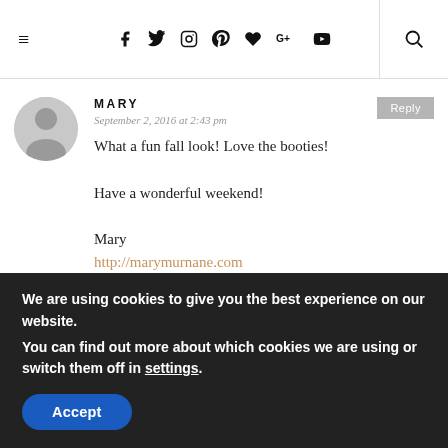≡  f  𝕏  ◻  ⊕  ♥  G+  ▶  🔍
MARY
September 2, 2016 at 2:43 pm
What a fun fall look! Love the booties!
Have a wonderful weekend!
Mary
http://marymurnane.com
TUNA J
We are using cookies to give you the best experience on our website.
You can find out more about which cookies we are using or switch them off in settings.